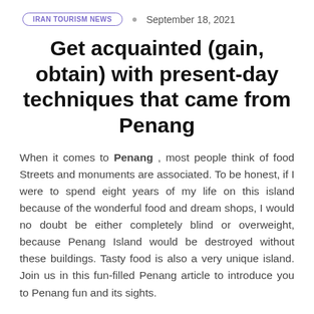IRAN TOURISM NEWS · September 18, 2021
Get acquainted (gain, obtain) with present-day techniques that came from Penang
When it comes to Penang , most people think of food Streets and monuments are associated. To be honest, if I were to spend eight years of my life on this island because of the wonderful food and dream shops, I would no doubt be either completely blind or overweight, because Penang Island would be destroyed without these buildings. Tasty food is also a very unique island. Join us in this fun-filled Penang article to introduce you to Penang fun and its sights.